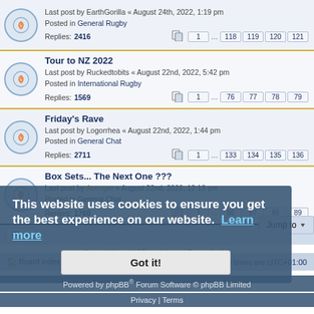Last post by EarthGorilla « August 24th, 2022, 1:19 pm
Posted in General Rugby
Replies: 2416 | pages: 1 … 118 119 120 121
Tour to NZ 2022
Last post by Ruckedtobits « August 22nd, 2022, 5:42 pm
Posted in International Rugby
Replies: 1569 | pages: 1 … 76 77 78 79
Friday's Rave
Last post by Logorrhea « August 22nd, 2022, 1:44 pm
Posted in General Chat
Replies: 2711 | pages: 1 … 133 134 135 136
Box Sets... The Next One ???
Last post by Avenger « August 22nd, 2022, 12:13 pm
Posted in General Chat
Replies: 1760 | pages: 1 … 86 87 88 89
Search found 25 matches • Page 1 of 1
This website uses cookies to ensure you get the best experience on our website. Learn more
Got it!
Board index | Delete cookies | All times are UTC+01:00
Powered by phpBB® Forum Software © phpBB Limited
Privacy | Terms